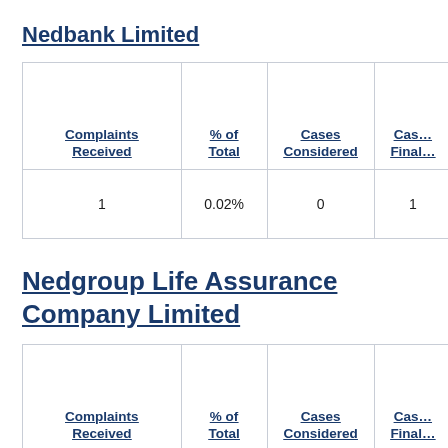Nedbank Limited
| Complaints Received | % of Total | Cases Considered | Cases Finally Determined |
| --- | --- | --- | --- |
| 1 | 0.02% | 0 | 1 |
Nedgroup Life Assurance Company Limited
| Complaints Received | % of Total | Cases Considered | Cases Finally Determined |
| --- | --- | --- | --- |